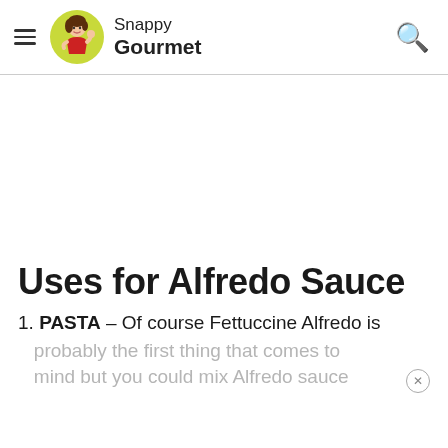Snappy Gourmet
[Figure (other): Advertisement / blank white space area below header]
Uses for Alfredo Sauce
PASTA – Of course Fettuccine Alfredo is
probably the first thing that comes to mind but you could mix Alfredo sauce